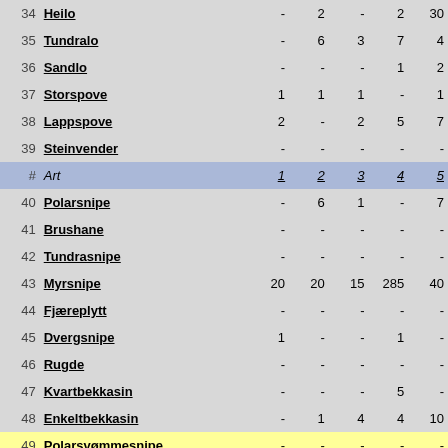| # | Art | 1 | 2 | 3 | 4 | 5 |
| --- | --- | --- | --- | --- | --- | --- |
| 34 | Heilo | - | 2 | - | 2 | 30 |
| 35 | Tundralo | - | 6 | 3 | 7 | 4 |
| 36 | Sandlo | - | - | - | 1 | 2 |
| 37 | Storspove | 1 | 1 | 1 | - | 1 |
| 38 | Lappspove | 2 | - | 2 | 5 | 7 |
| 39 | Steinvender | - | - | - | - | - |
| # | Art | 1 | 2 | 3 | 4 | 5 |
| 40 | Polarsnipe | - | 6 | 1 | - | 7 |
| 41 | Brushane | - | - | - | - | - |
| 42 | Tundrasnipe | - | - | - | - | - |
| 43 | Myrsnipe | 20 | 20 | 15 | 285 | 40 |
| 44 | Fjæreplytt | - | - | - | - | - |
| 45 | Dvergsnipe | 1 | - | - | 1 | - |
| 46 | Rugde | - | - | - | - | - |
| 47 | Kvartbekkasin | - | - | - | 5 | - |
| 48 | Enkeltbekkasin | - | 1 | 4 | 4 | 10 |
| 49 | Polarsvømmesnipe | - | - | - | - | - |
| 50 | Strandsnipe | 1 | - | 1 | - | - |
| 51 | Rødstilk | 2 | - | 2 | 1 | 2 |
| 52 | Gluttsnipe | - | 1 | - | - | - |
| 53 | Krykkje | - | 1 | - | - | - |
| 54 | Hettemåke | - | 1 | 5 | 17 | 3 |
| 55 | Dvergmåke | 4 | - | 6 | 28 | 15 |
| 56 | Fiskemåke | 5 | 7 | 18 | 73 | 25 |